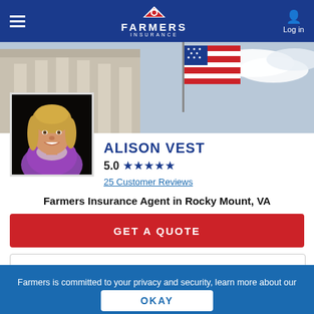FARMERS INSURANCE — Log in
[Figure (photo): Hero banner image showing a government building with columns and an American flag against a partly cloudy sky]
[Figure (photo): Headshot photo of Alison Vest, a smiling woman with blonde hair wearing a purple top and patterned scarf]
ALISON VEST
5.0 ★★★★★
25 Customer Reviews
Farmers Insurance Agent in Rocky Mount, VA
GET A QUOTE
Farmers is committed to your privacy and security, learn more about our Personal Information Use
OKAY